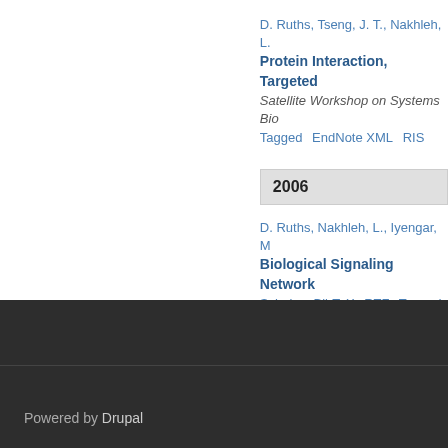D. Ruths, Tseng, J. T., Nakhleh, L.
Protein Interaction, Targeted
Satellite Workshop on Systems Bio
Tagged  EndNote XML  RIS
2006
D. Ruths, Nakhleh, L., Iyengar, M
Biological Signaling Network
Scholar  BibTeX  RTF  Tagged  En
Powered by Drupal